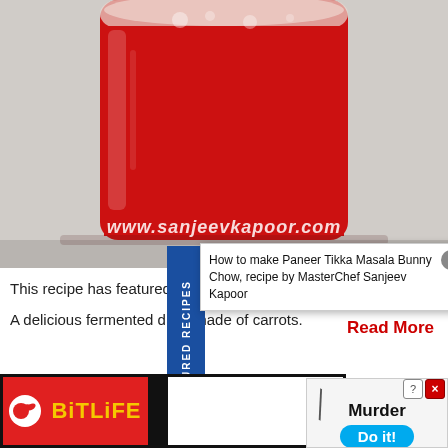[Figure (photo): Glass filled with red fermented carrot drink (Kanji), with watermark www.sanjeevkapoor.com]
This recipe has featured on the show Khanakhazana.
A delicious fermented drink made of carrots.
Read More
Kala Kha…
[Figure (screenshot): Popup ad: How to make Paneer Tikka Masala Bunny Chow, recipe by MasterChef Sanjeev Kapoor]
[Figure (screenshot): BitLife app advertisement banner]
[Figure (screenshot): Murder / Do it! app advertisement]